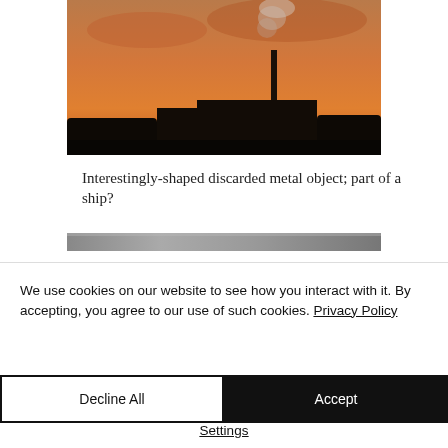[Figure (photo): Industrial factory with tall chimney silhouetted against an orange/red sunset sky, with smoke rising from the chimney and bare trees in the foreground.]
Interestingly-shaped discarded metal object; part of a ship?
[Figure (photo): Partial view of a second photograph, appears to be a grey textured outdoor scene, cropped.]
We use cookies on our website to see how you interact with it. By accepting, you agree to our use of such cookies. Privacy Policy
Decline All
Accept
Settings